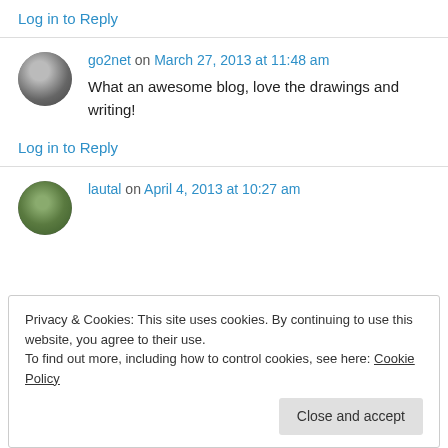Log in to Reply
go2net on March 27, 2013 at 11:48 am
What an awesome blog, love the drawings and writing!
Log in to Reply
lautal on April 4, 2013 at 10:27 am
Privacy & Cookies: This site uses cookies. By continuing to use this website, you agree to their use.
To find out more, including how to control cookies, see here: Cookie Policy
Close and accept